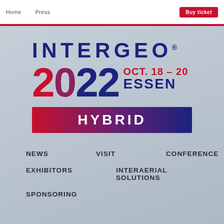Home   Press   Buy ticket
[Figure (logo): INTERGEO 2022 OCT. 18-20 ESSEN HYBRID event logo with dark blue and red color scheme on light blue-grey background]
NEWS
VISIT
CONFERENCE
EXHIBITORS
INTERAERIAL SOLUTIONS
SPONSORING